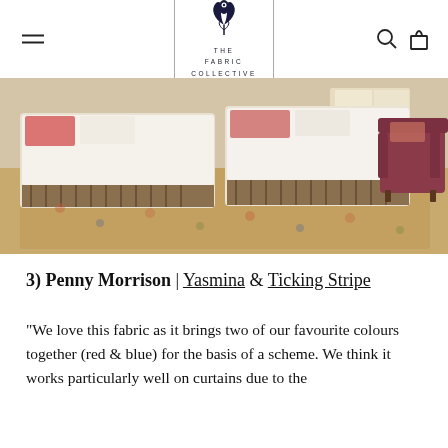THE FABRIC COLLECTIVE
[Figure (photo): Interior bedroom photo showing two beds with white duvets and striped bed skirts on a patterned rug, with a dark red armchair and curtains visible in the background.]
3) Penny Morrison | Yasmina & Ticking Stripe
"We love this fabric as it brings two of our favourite colours together (red & blue) for the basis of a scheme. We think it works particularly well on curtains due to the